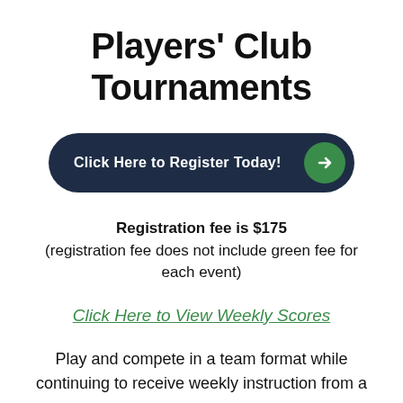Players' Club Tournaments
[Figure (other): Dark navy rounded button with text 'Click Here to Register Today!' and a green circle arrow icon on the right]
Registration fee is $175 (registration fee does not include green fee for each event)
Click Here to View Weekly Scores
Play and compete in a team format while continuing to receive weekly instruction from a